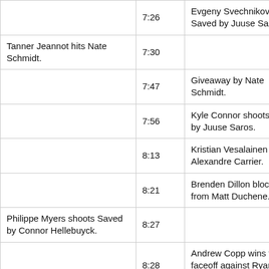| Home | Time | Away |
| --- | --- | --- |
|  | 7:26 | Evgeny Svechnikov shoots Saved by Juuse Saros. |
| Tanner Jeannot hits Nate Schmidt. | 7:30 |  |
|  | 7:47 | Giveaway by Nate Schmidt. |
|  | 7:56 | Kyle Connor shoots Saved by Juuse Saros. |
|  | 8:13 | Kristian Vesalainen hits Alexandre Carrier. |
|  | 8:21 | Brenden Dillon blocks shot from Matt Duchene. |
| Philippe Myers shoots Saved by Connor Hellebuyck. | 8:27 |  |
|  | 8:28 | Andrew Copp wins the faceoff against Ryan Johansen. |
| Giveaway by Philippe Myers. | 8:39 |  |